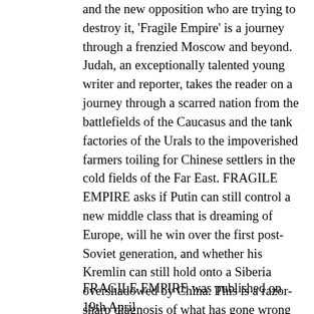and the new opposition who are trying to destroy it, 'Fragile Empire' is a journey through a frenzied Moscow and beyond. Judah, an exceptionally talented young writer and reporter, takes the reader on a journey through a scarred nation from the battlefields of the Caucasus and the tank factories of the Urals to the impoverished farmers toiling for Chinese settlers in the cold fields of the Far East. FRAGILE EMPIRE asks if Putin can still control a new middle class that is dreaming of Europe, will he win over the first post-Soviet generation, and whether his Kremlin can still hold onto a Siberia overshadowed by China. This is a razor-sharp diagnosis of what has gone wrong in post-modern Russia. Foreign Policy named FRAGILE EMPIRE one of its Top 25 Books To Read in 2013.
FRAGILE EMPIRE was published on 19th April